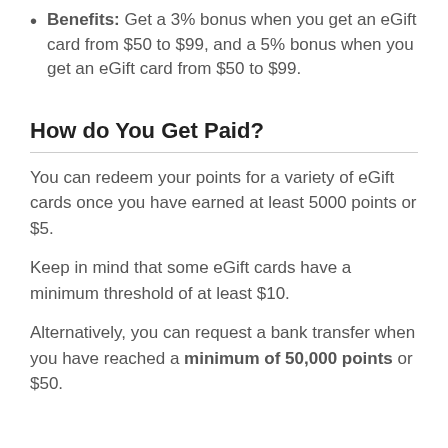Benefits: Get a 3% bonus when you get an eGift card from $50 to $99, and a 5% bonus when you get an eGift card from $50 to $99.
How do You Get Paid?
You can redeem your points for a variety of eGift cards once you have earned at least 5000 points or $5.
Keep in mind that some eGift cards have a minimum threshold of at least $10.
Alternatively, you can request a bank transfer when you have reached a minimum of 50,000 points or $50.